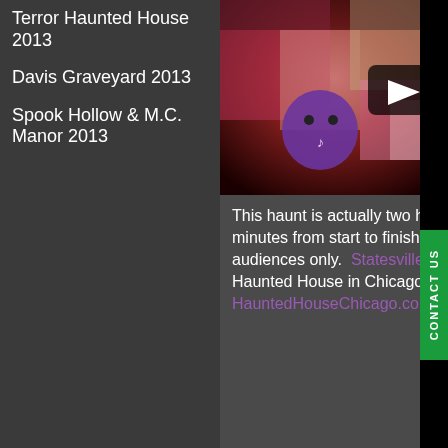Terror Haunted House 2013
Davis Graveyard 2013
Spook Hollow & M.C. Manor 2013
[Figure (photo): Video thumbnail showing costumed haunted house characters in red and purple tones, with a play button overlay]
This haunt is actually two haunts in one, lasting an average of 40 to 50 minutes from start to finish, and is intended for teen and adult audiences only.  Statesville Haunted Prison® has been named "Best Haunted House in Chicagoland" for 10 of the past 12 years by HauntedHouseChicago.co